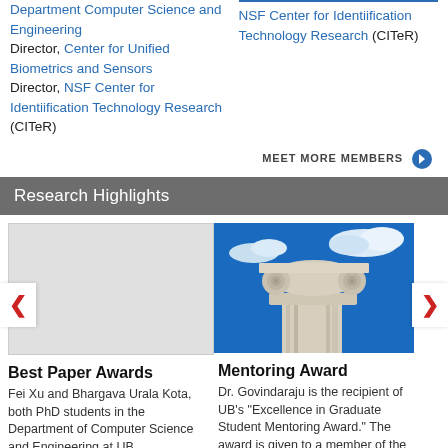Department Computer Science and Engineering
Director, Center for Unified Biometrics and Sensors
Director, NSF Center for Identiification Technology Research (CITeR)
NSF Center for Identiification Technology Research (CITeR)
MEET MORE MEMBERS
Research Highlights
[Figure (photo): Light gray placeholder image box]
[Figure (photo): Photo of a stone Ionic column capital against a blue sky with clouds]
Best Paper Awards
Fei Xu and Bhargava Urala Kota, both PhD students in the Department of Computer Science and Engineering at UB,
Mentoring Award
Dr. Govindaraju is the recipient of UB's "Excellence in Graduate Student Mentoring Award." The award is given to a member of the